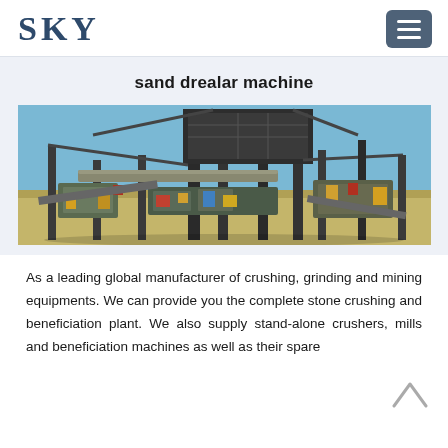SKY
sand drealar machine
[Figure (photo): Large industrial sand/mining processing machine with conveyors, elevated platforms and structural steel framework, photographed outdoors in an arid environment with blue sky background.]
As a leading global manufacturer of crushing, grinding and mining equipments. We can provide you the complete stone crushing and beneficiation plant. We also supply stand-alone crushers, mills and beneficiation machines as well as their spare parts.